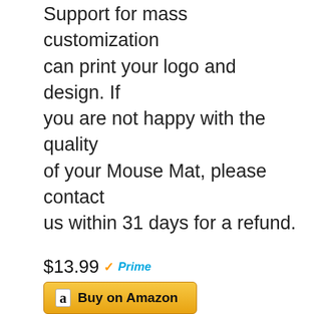Support for mass customization—can print your logo and design. If you are not happy with the quality of your Mouse Mat, please contact us within 31 days for a refund.
$13.99 ✓Prime
Buy on Amazon
[Figure (photo): A black and white gaming mouse with a cable at the top, viewed from above-front angle. The mouse has white side panels with button controls on the side.]